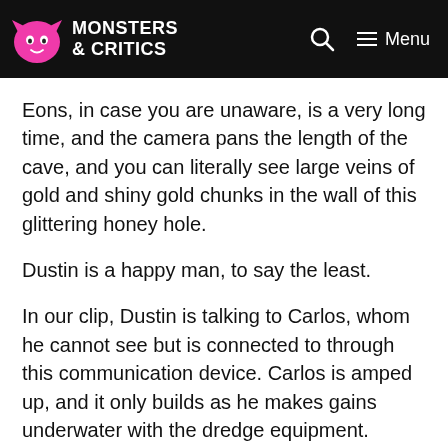MONSTERS & CRITICS
Eons, in case you are unaware, is a very long time, and the camera pans the length of the cave, and you can literally see large veins of gold and shiny gold chunks in the wall of this glittering honey hole.
Dustin is a happy man, to say the least.
In our clip, Dustin is talking to Carlos, whom he cannot see but is connected to through this communication device. Carlos is amped up, and it only builds as he makes gains underwater with the dredge equipment.